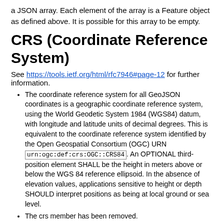a JSON array. Each element of the array is a Feature object as defined above. It is possible for this array to be empty.
CRS (Coordinate Reference System)
See https://tools.ietf.org/html/rfc7946#page-12 for further information.
The coordinate reference system for all GeoJSON coordinates is a geographic coordinate reference system, using the World Geodetic System 1984 (WGS84) datum, with longitude and latitude units of decimal degrees. This is equivalent to the coordinate reference system identified by the Open Geospatial Consortium (OGC) URN urn:ogc:def:crs:OGC::CRS84. An OPTIONAL third-position element SHALL be the height in meters above or below the WGS 84 reference ellipsoid. In the absence of elevation values, applications sensitive to height or depth SHOULD interpret positions as being at local ground or sea level.
The crs member has been removed.
RFC7946 does not that “where all involved parties have a prior arrangement, alternative coordinate reference systems can be used without risk of data being misinterpreted.”
Bounding Boxes